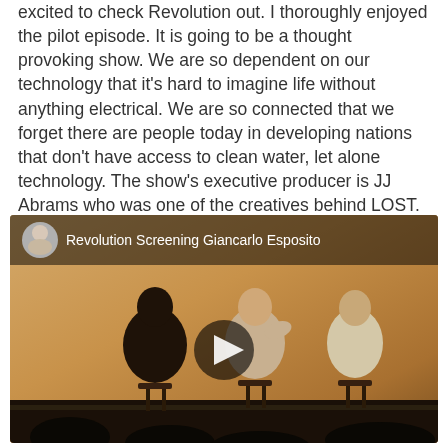excited to check Revolution out. I thoroughly enjoyed the pilot episode. It is going to be a thought provoking show. We are so dependent on our technology that it's hard to imagine life without anything electrical. We are so connected that we forget there are people today in developing nations that don't have access to clean water, let alone technology. The show's executive producer is JJ Abrams who was one of the creatives behind LOST. It's inevitable that people will be looking for parallels between LOST and Revolution. Giancarlo Esposito, Captain Neville in Revolution, addressed that very question after the screening.
[Figure (screenshot): Embedded video thumbnail showing 'Revolution Screening Giancarlo Esposito' with a YouTube-style play button overlay. The thumbnail shows three people seated on stools on a warmly lit stage, with a circular avatar of a woman in the top-left corner and the video title text next to it.]